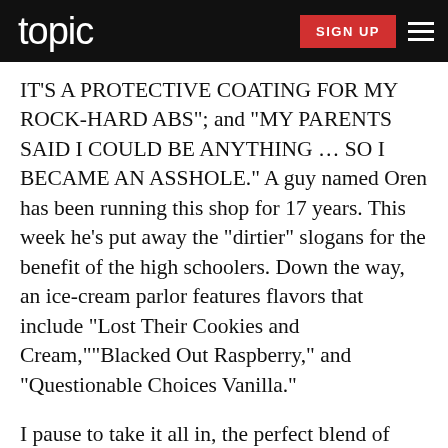topic | SIGN UP
IT'S A PROTECTIVE COATING FOR MY ROCK-HARD ABS"; and "MY PARENTS SAID I COULD BE ANYTHING … SO I BECAME AN ASSHOLE." A guy named Oren has been running this shop for 17 years. This week he's put away the "dirtier" slogans for the benefit of the high schoolers. Down the way, an ice-cream parlor features flavors that include "Lost Their Cookies and Cream," "Blacked Out Raspberry," and "Questionable Choices Vanilla."
I pause to take it all in, the perfect blend of wholesome and debauched. Around us, scantily clad adults are drinking and college students and high schoolers are roving in groups, while little kids frolic